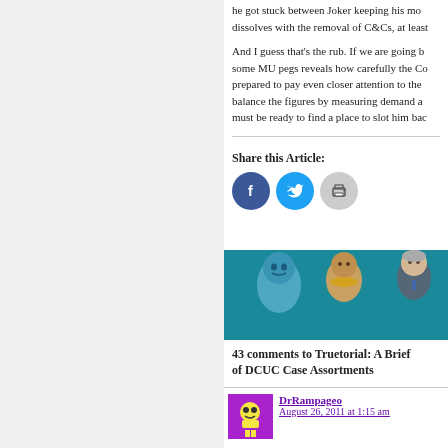he got stuck between Joker keeping his mo… dissolves with the removal of C&Cs, at least…
And I guess that's the rub. If we are going b… some MU pegs reveals how carefully the Co… prepared to pay even closer attention to the… balance the figures by measuring demand a… must be ready to find a place to slot him bac…
Share this Article:
[Figure (infographic): Social share buttons: Facebook (dark blue circle with f icon), Twitter (cyan circle with bird icon), Print (gray circle with printer icon)]
[Figure (photo): Photo of DC Universe Classics action figures including a blue alien creature and two human-like characters]
43 comments to Truetorial: A Brief… of DCUC Case Assortments
DrRampageo
August 26, 2011 at 1:15 am